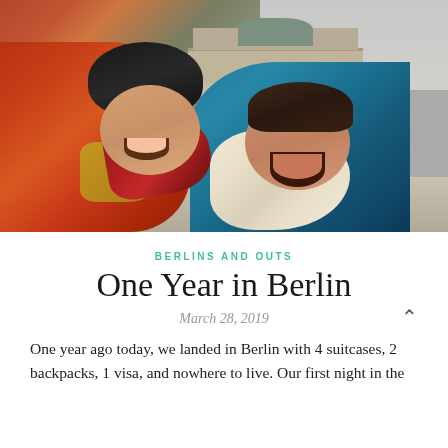[Figure (photo): A couple smiling and posing in front of the Brandenburg Gate in Berlin. The man on the left wears a black beanie hat and an orange/red jacket. The woman on the right wears a white scarf and teal coat. The Brandenburg Gate is visible in the background with people walking around it. Overcast sky.]
BERLINS AND OUTS
One Year in Berlin
March 28, 2019
One year ago today, we landed in Berlin with 4 suitcases, 2 backpacks, 1 visa, and nowhere to live. Our first night in the